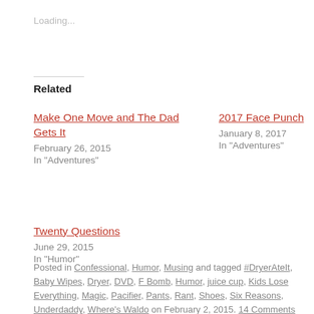Loading...
Related
Make One Move and The Dad Gets It
February 26, 2015
In "Adventures"
2017 Face Punch
January 8, 2017
In "Adventures"
Twenty Questions
June 29, 2015
In "Humor"
Posted in Confessional, Humor, Musing and tagged #DryerAteIt, Baby Wipes, Dryer, DVD, F Bomb, Humor, juice cup, Kids Lose Everything, Magic, Pacifier, Pants, Rant, Shoes, Six Reasons, Underdaddy, Where's Waldo on February 2, 2015. 14 Comments